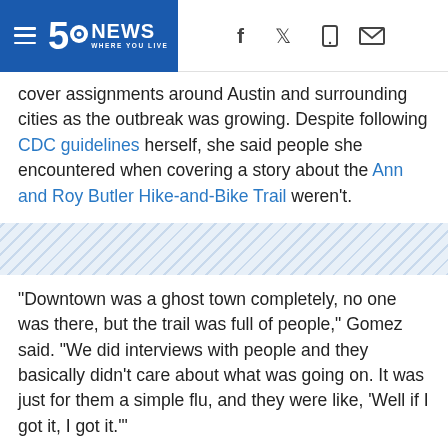5 News Where You Live
cover assignments around Austin and surrounding cities as the outbreak was growing. Despite following CDC guidelines herself, she said people she encountered when covering a story about the Ann and Roy Butler Hike-and-Bike Trail weren't.
[Figure (other): Diagonal stripe divider band]
"Downtown was a ghost town completely, no one was there, but the trail was full of people," Gomez said. "We did interviews with people and they basically didn't care about what was going on. It was just for them a simple flu, and they were like, 'Well if I got it, I got it.'"
That night, Gomez said her symptoms started with a fever of nearly 102 degrees. Three days later, she started